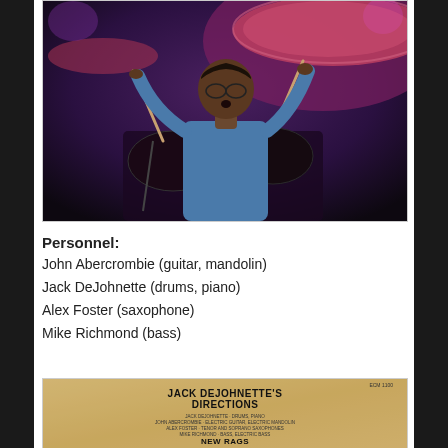[Figure (photo): A jazz drummer performing on stage, playing drums with drumsticks raised, wearing glasses and a blue shirt, with cymbals and purple stage lighting visible in the background.]
Personnel:
John Abercrombie (guitar, mandolin)
Jack DeJohnette (drums, piano)
Alex Foster (saxophone)
Mike Richmond (bass)
[Figure (photo): Album back cover for Jack DeJohnette's Directions - New Rags, showing title, personnel credits, and tracklist on aged paper/cardboard background. ECM label visible.]